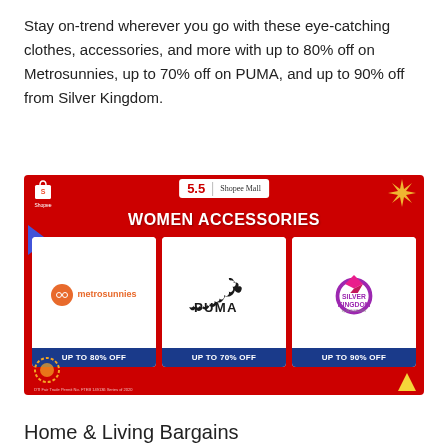Stay on-trend wherever you go with these eye-catching clothes, accessories, and more with up to 80% off on Metrosunnies, up to 70% off on PUMA, and up to 90% off from Silver Kingdom.
[Figure (infographic): Shopee 5.5 Shopee Mall Women Accessories promotional banner with three brand cards: metrosunnies (UP TO 80% OFF), PUMA (UP TO 70% OFF), Silver Kingdom (UP TO 90% OFF), on a red background.]
Home & Living Bargains